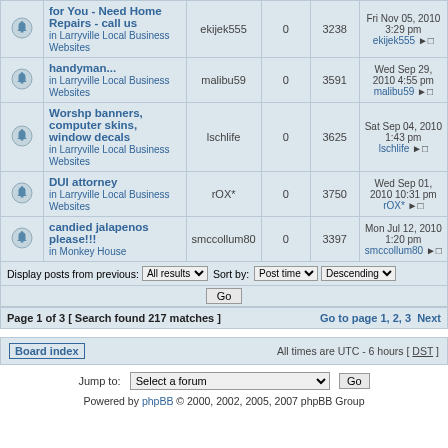|  | Topic | Author | Replies | Views | Last post |
| --- | --- | --- | --- | --- | --- |
| [icon] | for You - Need Home Repairs - call us
in Larryville Local Business Websites | ekijek555 | 0 | 3238 | Fri Nov 05, 2010 3:29 pm ekijek555 |
| [icon] | handyman...
in Larryville Local Business Websites | malibu59 | 0 | 3591 | Wed Sep 29, 2010 4:55 pm malibu59 |
| [icon] | Worshp banners, computer skins, window decals
in Larryville Local Business Websites | lschlife | 0 | 3625 | Sat Sep 04, 2010 1:43 pm lschlife |
| [icon] | DUI attorney
in Larryville Local Business Websites | rOX* | 0 | 3750 | Wed Sep 01, 2010 10:31 pm rOX* |
| [icon] | candied jalapenos please!!!
in Monkey House | smccollum80 | 0 | 3397 | Mon Jul 12, 2010 1:20 pm smccollum80 |
Display posts from previous: All results | Sort by: Post time | Descending | Go
Page 1 of 3 [ Search found 217 matches ] Go to page 1, 2, 3 Next
Board index | All times are UTC - 6 hours [ DST ]
Jump to: Select a forum | Go
Powered by phpBB © 2000, 2002, 2005, 2007 phpBB Group